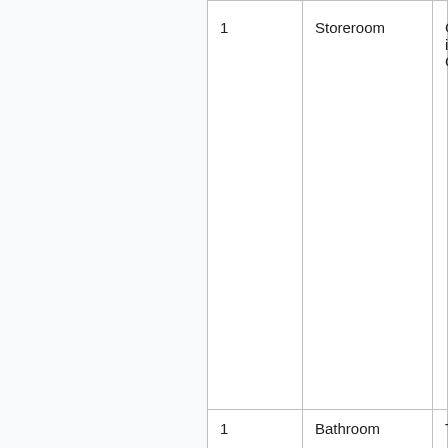| 1 | Storeroom | Community Chest |
| 1 | Bathroom | Toilet |
| 2 | Workshop | Machining Mill |
| 3 | Laboratory | Chemical Processor |